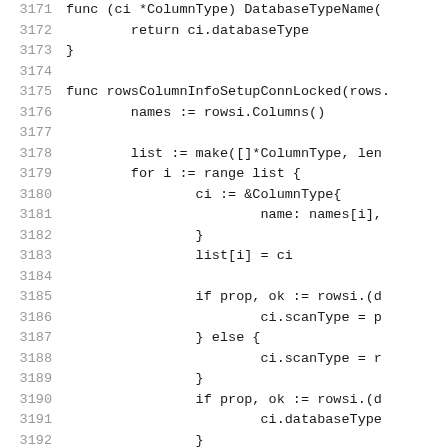[Figure (screenshot): Source code listing in Go language showing lines 3171-3195, with line numbers in grey on the left and code in monospace on the right. The code shows a DatabaseTypeName method and a rowsColumnInfoSetupConnLocked function.]